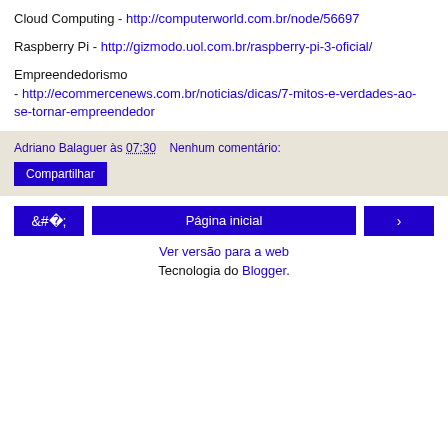Cloud Computing - http://computerworld.com.br/node/56697
Raspberry Pi - http://gizmodo.uol.com.br/raspberry-pi-3-oficial/
Empreendedorismo - http://ecommercenews.com.br/noticias/dicas/7-mitos-e-verdades-ao-se-tornar-empreendedor
Adriano Balaguer às 07:30   Nenhum comentário:
Compartilhar
‹  Página inicial  ›
Ver versão para a web
Tecnologia do Blogger.